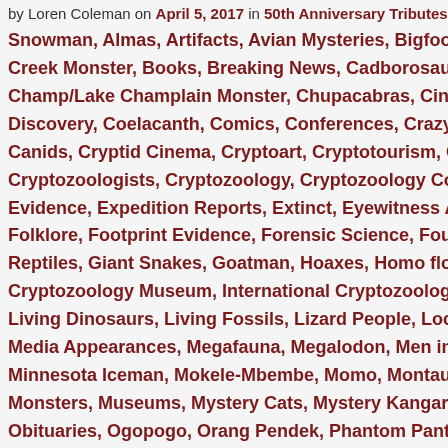by Loren Coleman on April 5, 2017 in 50th Anniversary Tributes, Abominable Snowman, Almas, Artifacts, Avian Mysteries, Bigfoot, Bigfoot Evidence, Creek Monster, Books, Breaking News, Cadborosaurus, Call Blasting, Champ/Lake Champlain Monster, Chupacabras, Cinema News, Classic Discovery, Coelacanth, Comics, Conferences, Crazy Crocs, Cryptid, Cryptid Canids, Cryptid Cinema, Cryptoart, Cryptotourism, CryptoZoo News, Cryptozoologists, Cryptozoology, Cryptozoology Conferences, Dover Evidence, Expedition Reports, Extinct, Eyewitness Accounts, Finding Bigfoot, Folklore, Footprint Evidence, Forensic Science, Fouke Monster, Giant Cryptid Reptiles, Giant Snakes, Goatman, Hoaxes, Homo floresiensis, International Cryptozoology Museum, International Cryptozoology Society, Lake Monsters, Living Dinosaurs, Living Fossils, Lizard People, Loch Ness Monster, Maps, Media Appearances, Megafauna, Megalodon, Men in Cryptozoology, Minnesota Iceman, Mokele-Mbembe, Momo, Montauk Monster, Mothman, Monsters, Museums, Mystery Cats, Mystery Kangaroos, Name Game, Obituaries, Ogopogo, Orang Pendek, Phantom Panthers, Pop Culture, Russian, Public Enemy, Reading, Genetic, Sea Monsters...